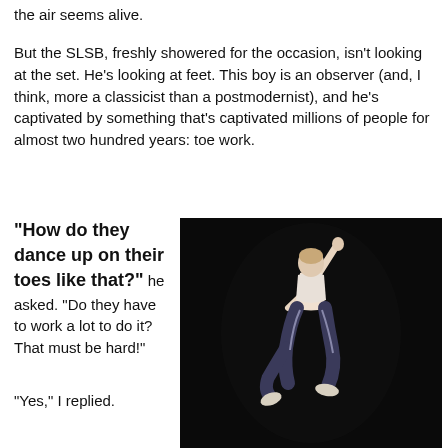the air seems alive.
But the SLSB, freshly showered for the occasion, isn't looking at the set. He's looking at feet. This boy is an observer (and, I think, more a classicist than a postmodernist), and he's captivated by something that's captivated millions of people for almost two hundred years: toe work.
“How do they dance up on their toes like that?” he asked. “Do they have to work a lot to do it? That must be hard!”
[Figure (photo): A dancer on stage against a black background, wearing a white top and dark pants with a stripe, balancing on one foot with one arm raised high and the other extended, mid-movement.]
“Yes,” I replied.